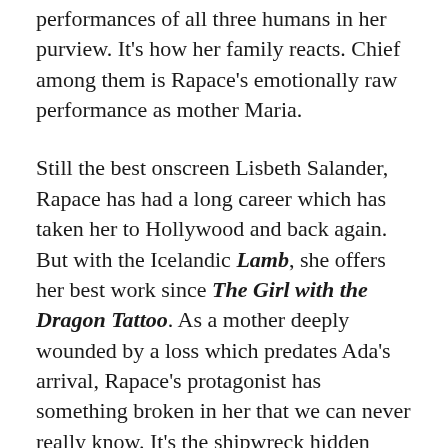performances of all three humans in her purview. It's how her family reacts. Chief among them is Rapace's emotionally raw performance as mother Maria.
Still the best onscreen Lisbeth Salander, Rapace has had a long career which has taken her to Hollywood and back again. But with the Icelandic Lamb, she offers her best work since The Girl with the Dragon Tattoo. As a mother deeply wounded by a loss which predates Ada's arrival, Rapace's protagonist has something broken in her that we can never really know. It's the shipwreck hidden beneath still waters. But the ghosts are still present, and she only begins putting them to rest when she is allowed to put flowers in a lamb's hair.
It's a remarkable turn, and both she and Guðnason do significant work at normalizing the concept of Ada and